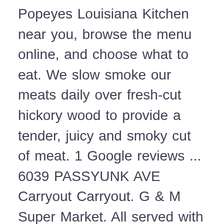Popeyes Louisiana Kitchen near you, browse the menu online, and choose what to eat. We slow smoke our meats daily over fresh-cut hickory wood to provide a tender, juicy and smoky cut of meat. 1 Google reviews ... 6039 PASSYUNK AVE Carryout Carryout. G & M Super Market. All served with choice of white or corn bread and choice of cocktail, tartar or Buffalo tartar sauce and choice of french fries or onion rings. A dinner plate at Two Bros. Soulfood Kitchen & Lounge. New restaurants in Glendora, NJ. 1200 Black Horse Pike. delivery fee. Violas. 128 E Evesham Rd, Glendora, NJ. All include special sauce, lettuce, tomato, cheese and onions. Menu: Breakfast Sandwiches. For more